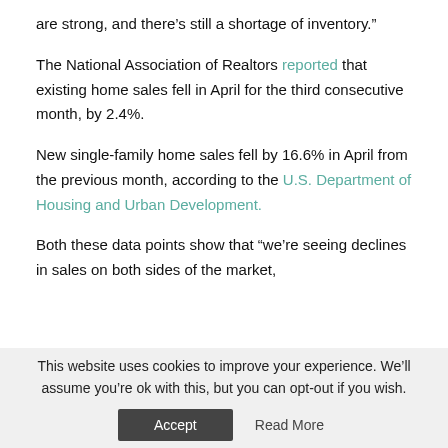are strong, and there’s still a shortage of inventory.”
The National Association of Realtors reported that existing home sales fell in April for the third consecutive month, by 2.4%.
New single-family home sales fell by 16.6% in April from the previous month, according to the U.S. Department of Housing and Urban Development.
Both these data points show that “we’re seeing declines in sales on both sides of the market,
This website uses cookies to improve your experience. We’ll assume you’re ok with this, but you can opt-out if you wish.